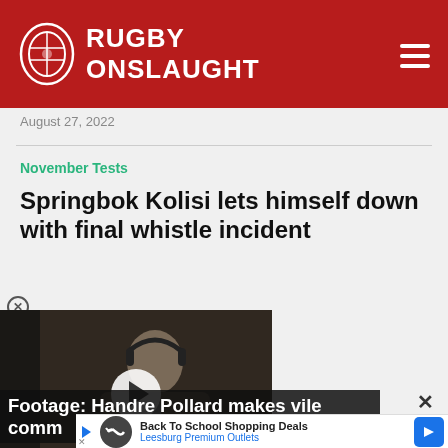[Figure (logo): Rugby Onslaught logo with rugby ball icon on red header background]
August 27, 2022
November Tests
Springbok Kolisi lets himself down with final whistle incident
[Figure (screenshot): Video thumbnail showing a man with headphones holding a microphone, with play button overlay]
Footage: Handre Pollard makes vile comm...
[Figure (infographic): Ad banner: Back To School Shopping Deals - Leesburg Premium Outlets]